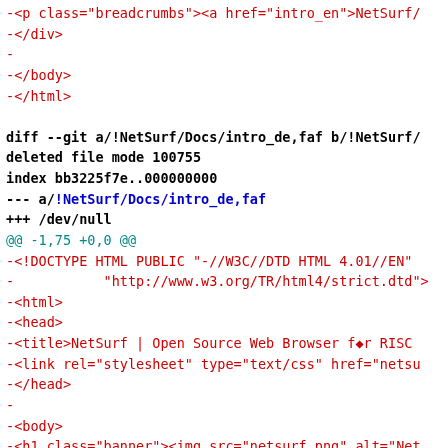diff --git output showing deleted file !NetSurf/Docs/intro_de,faf with code lines in red, blue, and black bold monospace font